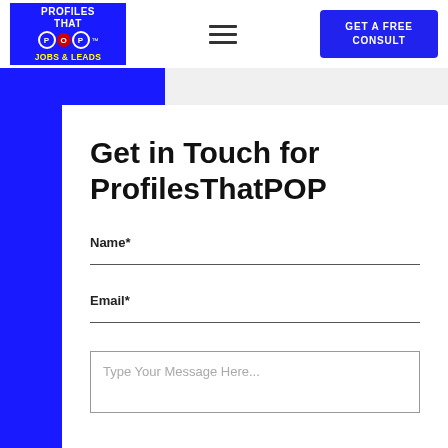[Figure (logo): Profiles That POP! Jobs & Leads logo — blue square with white bold text and circular letter icons]
[Figure (other): Hamburger menu icon — three horizontal lines]
GET A FREE CONSULT
Get in Touch for ProfilesThatPOP
Name*
Email*
Type Your Message Here...